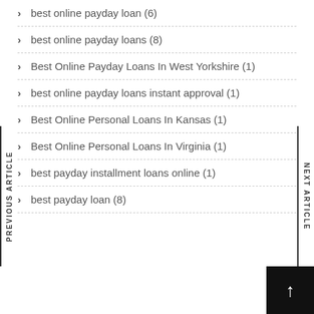best online payday loan (6)
best online payday loans (8)
Best Online Payday Loans In West Yorkshire (1)
best online payday loans instant approval (1)
Best Online Personal Loans In Kansas (1)
Best Online Personal Loans In Virginia (1)
best payday installment loans online (1)
best payday loan (8)